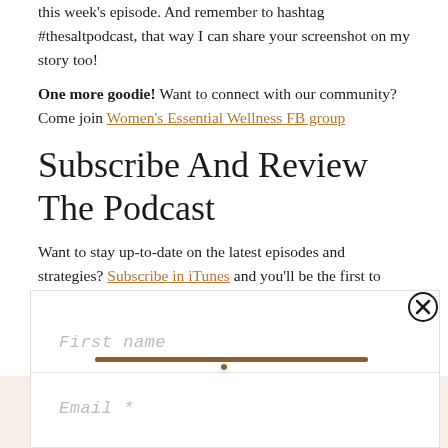this week's episode. And remember to hashtag #thesaltpodcast, that way I can share your screenshot on my story too!
One more goodie! Want to connect with our community? Come join Women's Essential Wellness FB group
Subscribe And Review The Podcast
Want to stay up-to-date on the latest episodes and strategies? Subscribe in iTunes and you'll be the first to know when new episodes drop.
If you want to be featured on the show as a reviewer of the week,
[Figure (screenshot): Modal form overlay with First name input field, a decorative brown divider bar, and an Email input field. A close (X) button is visible in the top right corner of the modal.]